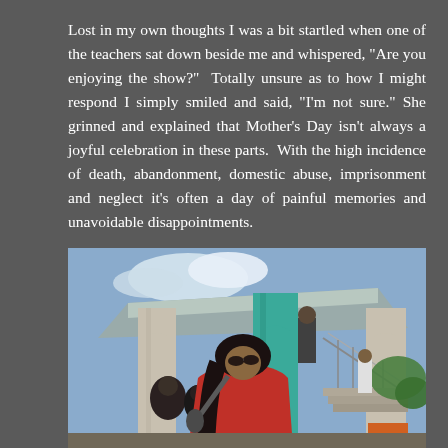Lost in my own thoughts I was a bit startled when one of the teachers sat down beside me and whispered, "Are you enjoying the show?"  Totally unsure as to how I might respond I simply smiled and said, "I'm not sure." She grinned and explained that Mother's Day isn't always a joyful celebration in these parts.  With the high incidence of death, abandonment, domestic abuse, imprisonment and neglect it's often a day of painful memories and unavoidable disappointments.
[Figure (photo): Outdoor school event scene. A young woman in a red top holds a microphone and appears to be singing or speaking. Behind her are arched teal/green columns of a school building, a metal roof, stairs with railings, and groups of students and people standing around.]